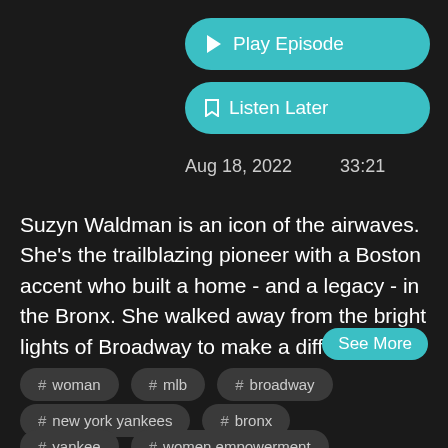▶ Play Episode
🔖 Listen Later
Aug 18, 2022    33:21
Suzyn Waldman is an icon of the airwaves. She's the trailblazing pioneer with a Boston accent who built a home - and a legacy - in the Bronx. She walked away from the bright lights of Broadway to make a different
See More
# woman
# mlb
# broadway
# new york yankees
# bronx
# yankee
# women empowerment